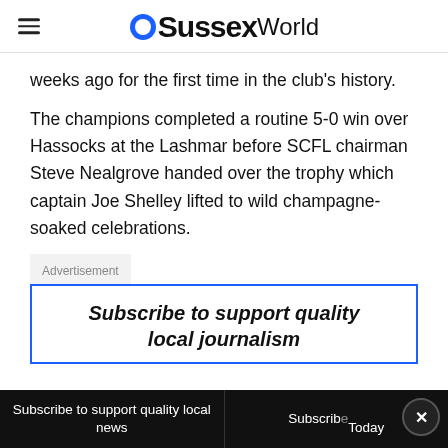OSussexWorld
weeks ago for the first time in the club's history.
The champions completed a routine 5-0 win over Hassocks at the Lashmar before SCFL chairman Steve Nealgrove handed over the trophy which captain Joe Shelley lifted to wild champagne-soaked celebrations.
Advertisement
Subscribe to support quality local journalism
Subscribe to support quality local news | Subscribe Today